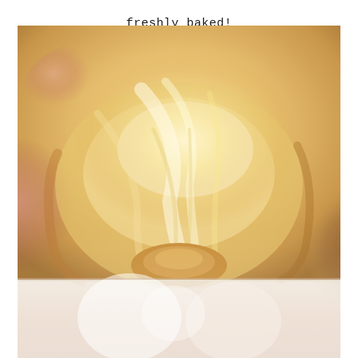freshly baked!
[Figure (photo): Close-up photograph of freshly baked braided bread loaf with golden-brown crust, showing flaky layers and texture, placed on a surface. A second image begins at the bottom of the frame.]